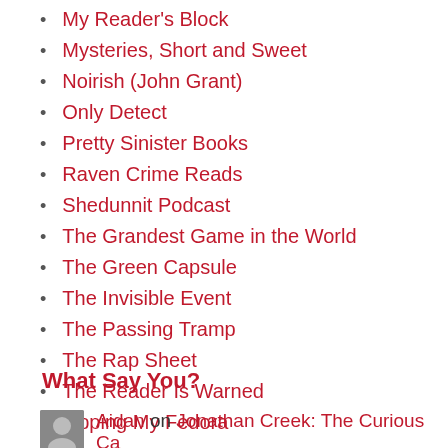My Reader's Block
Mysteries, Short and Sweet
Noirish (John Grant)
Only Detect
Pretty Sinister Books
Raven Crime Reads
Shedunnit Podcast
The Grandest Game in the World
The Green Capsule
The Invisible Event
The Passing Tramp
The Rap Sheet
The Reader Is Warned
Tipping My Fedora
What Say You?
Aidan on Jonathan Creek: The Curious Ca